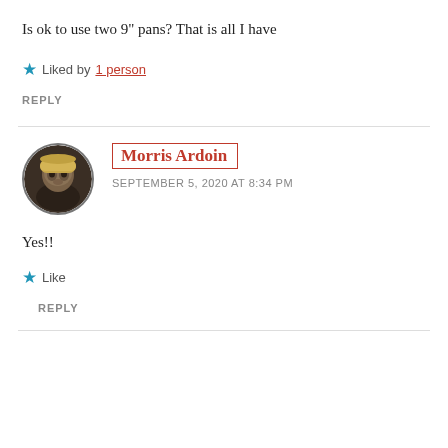Is ok to use two 9" pans? That is all I have
Liked by 1 person
REPLY
Morris Ardoin
SEPTEMBER 5, 2020 AT 8:34 PM
Yes!!
Like
REPLY